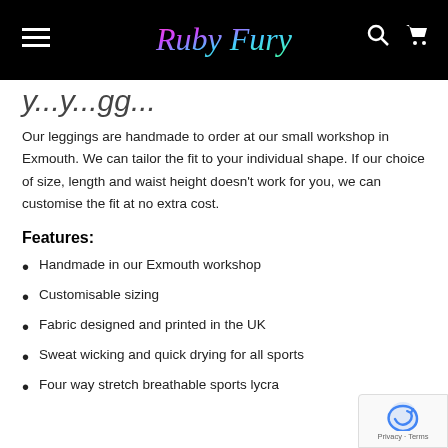Ruby Fury
...y...y...gg...
Our leggings are handmade to order at our small workshop in Exmouth. We can tailor the fit to your individual shape. If our choice of size, length and waist height doesn't work for you, we can customise the fit at no extra cost.
Features:
Handmade in our Exmouth workshop
Customisable sizing
Fabric designed and printed in the UK
Sweat wicking and quick drying for all sports
Four way stretch breathable sports lycra